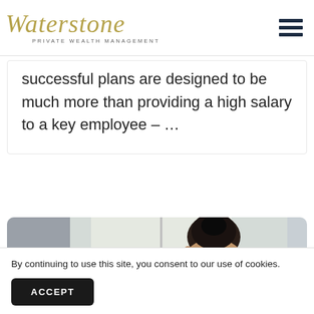Waterstone Private Wealth Management
successful plans are designed to be much more than providing a high salary to a key employee – ...
[Figure (photo): Photo of a woman with braided hair in a bun, viewed from behind/side, near a window with natural light]
By continuing to use this site, you consent to our use of cookies.
ACCEPT